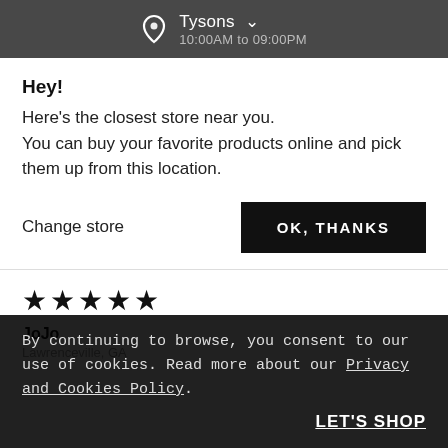Tysons  10:00AM to 09:00PM
Hey!
Here's the closest store near you.
You can buy your favorite products online and pick them up from this location.
Change store
OK, THANKS
[Figure (other): Five filled star rating icons]
JoJo
Lawrenceville, GA
By continuing to browse, you consent to our use of cookies. Read more about our Privacy and Cookies Policy.
LET'S SHOP